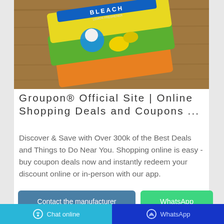[Figure (photo): A yellow and orange package of Bleach lemon freshener product lying on a wooden surface]
Groupon® Official Site | Online Shopping Deals and Coupons ...
Discover & Save with Over 300k of the Best Deals and Things to Do Near You. Shopping online is easy - buy coupon deals now and instantly redeem your discount online or in-person with our app.
Contact the manufacturer
WhatsApp
Chat online   WhatsApp